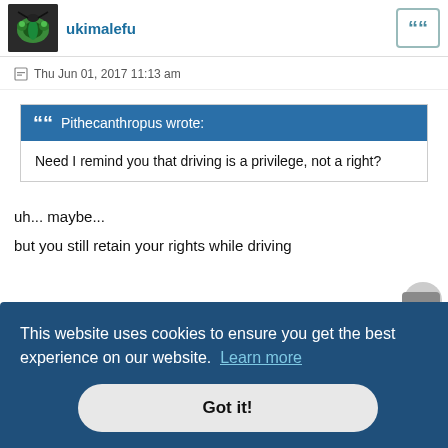ukimalefu
Thu Jun 01, 2017 11:13 am
Pithecanthropus wrote:
Need I remind you that driving is a privilege, not a right?
uh... maybe...
but you still retain your rights while driving
This website uses cookies to ensure you get the best experience on our website.  Learn more
Got it!
Thu Jun 01, 2017 11:31 am